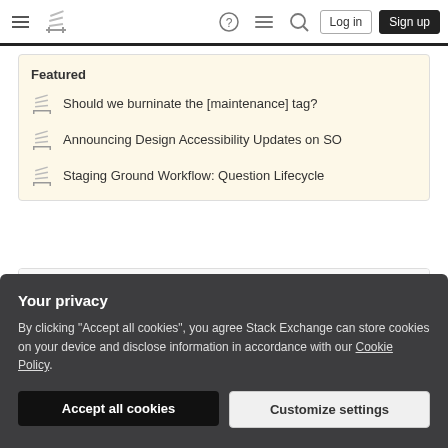Stack Overflow navigation bar with hamburger menu, logo, help, chat, search icons, Log in and Sign up buttons
Featured
Should we burninate the [maintenance] tag?
Announcing Design Accessibility Updates on SO
Staging Ground Workflow: Question Lifecycle
27 people chatting
PHP
12 mins ago · Siprios
Your privacy
By clicking "Accept all cookies", you agree Stack Exchange can store cookies on your device and disclose information in accordance with our Cookie Policy.
Accept all cookies
Customize settings